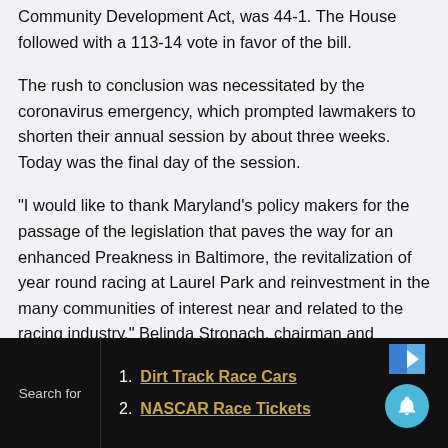The vote in the Senate on SB 307, the Racing and Community Development Act, was 44-1. The House followed with a 113-14 vote in favor of the bill.
The rush to conclusion was necessitated by the coronavirus emergency, which prompted lawmakers to shorten their annual session by about three weeks. Today was the final day of the session.
“I would like to thank Maryland’s policy makers for the passage of the legislation that paves the way for an enhanced Preakness in Baltimore, the revitalization of year round racing at Laurel Park and reinvestment in the many communities of interest near and related to the racing industry,” Belinda Stronach, chairman and president of the Stronach Group, which owns PImlico,
Search for
1. Dirt Track Race Cars
2. NASCAR Race Tickets